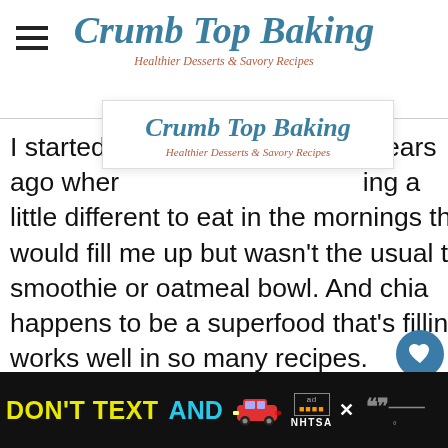Crumb Top Baking — Healthier Desserts & Savory Recipes
[Figure (logo): Crumb Top Baking logo popup overlay with title and subtitle 'Healthier Desserts & Savory Recipes']
I started [this blog] years ago when [I was look]ing a little different to eat in the mornings that would fill me up but wasn't the usual toast, smoothie or oatmeal bowl. And chia happens to be a superfood that's filling a[nd] works well in so many recipes.
[Figure (infographic): Heart/like button with count 347 and share button on right side]
WHAT'S NEXT → Peanut Butter Granola
[Figure (infographic): Advertisement banner: DON'T TEXT AND [car emoji] with ad badge and NHTSA logo, close button, and WW logo]